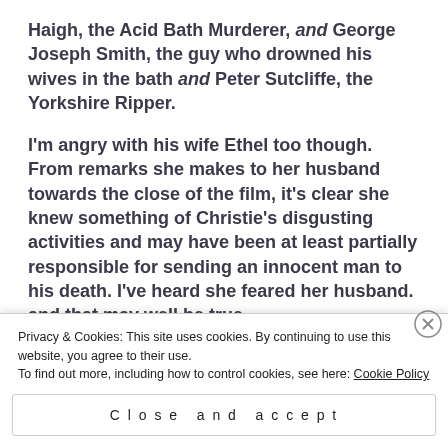Haigh, the Acid Bath Murderer, and George Joseph Smith, the guy who drowned his wives in the bath and Peter Sutcliffe, the Yorkshire Ripper.
I'm angry with his wife Ethel too though. From remarks she makes to her husband towards the close of the film, it's clear she knew something of Christie's disgusting activities and may have been at least partially responsible for sending an innocent man to his death. I've heard she feared her husband. and that may well be true.
Privacy & Cookies: This site uses cookies. By continuing to use this website, you agree to their use.
To find out more, including how to control cookies, see here: Cookie Policy
Close and accept